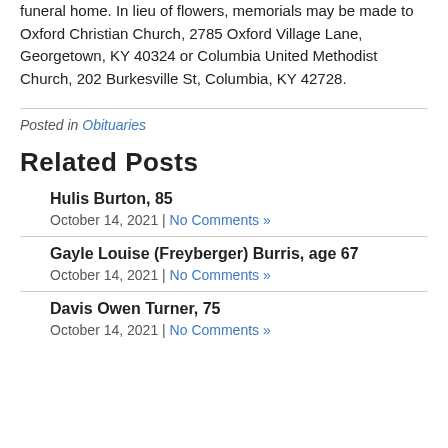funeral home. In lieu of flowers, memorials may be made to Oxford Christian Church, 2785 Oxford Village Lane, Georgetown, KY 40324 or Columbia United Methodist Church, 202 Burkesville St, Columbia, KY 42728.
Posted in Obituaries
Related Posts
Hulis Burton, 85
October 14, 2021 | No Comments »
Gayle Louise (Freyberger) Burris, age 67
October 14, 2021 | No Comments »
Davis Owen Turner, 75
October 14, 2021 | No Comments »